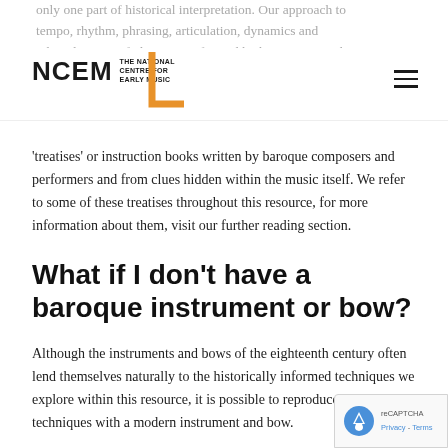NCEM – The National Centre for Early Music
only one part of historical interpretation. Our approach to tempo, rhythm, phrasing, articulation, dynamics and other elements of playing is informed by history. We gather information to guide our interpretation from the many
'treatises' or instruction books written by baroque composers and performers and from clues hidden within the music itself. We refer to some of these treatises throughout this resource, for more information about them, visit our further reading section.
What if I don't have a baroque instrument or bow?
Although the instruments and bows of the eighteenth century often lend themselves naturally to the historically informed techniques we explore within this resource, it is possible to reproduce the techniques with a modern instrument and bow.